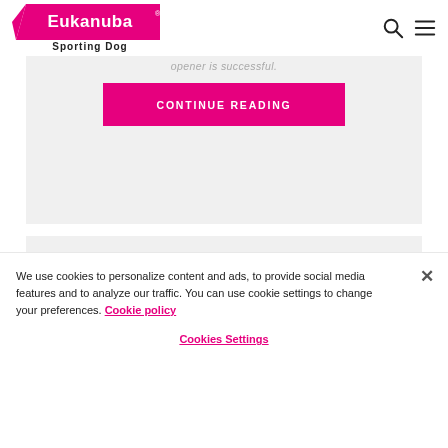[Figure (logo): Eukanuba Sporting Dog logo — pink banner with white 'Eukanuba' text and 'Sporting Dog' below in dark text]
opener is successful.
CONTINUE READING
We use cookies to personalize content and ads, to provide social media features and to analyze our traffic. You can use cookie settings to change your preferences. Cookie policy
Cookies Settings